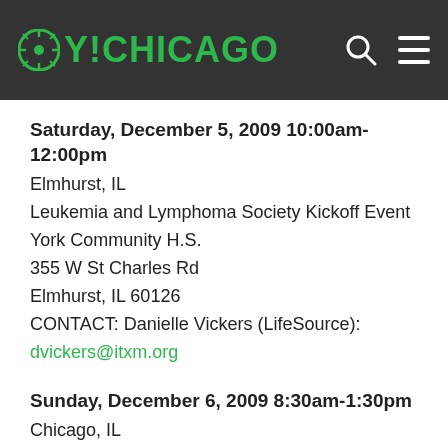OY!CHICAGO
Saturday, December 5, 2009 10:00am-12:00pm
Elmhurst, IL
Leukemia and Lymphoma Society Kickoff Event
York Community H.S.
355 W St Charles Rd
Elmhurst, IL 60126
CONTACT: Danielle Vickers (LifeSource):
dvickers@itxm.org
Sunday, December 6, 2009 8:30am-1:30pm
Chicago, IL
Emanuel Congregation
5959 N Sheridan Rd
Chicago, IL 60660-3643